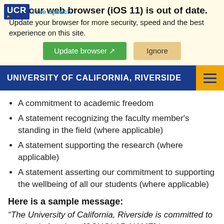[Figure (screenshot): Browser out-of-date warning banner with UCR logo, 'Free Speech' text, update browser and ignore buttons]
UNIVERSITY OF CALIFORNIA, RIVERSIDE
A commitment to academic freedom
A statement recognizing the faculty member's standing in the field (where applicable)
A statement supporting the research (where applicable)
A statement asserting our commitment to supporting the wellbeing of all our students (where applicable)
Here is a sample message:
“The University of California, Riverside is committed to academic freedom. [SCHOLAR NAME] is an established and accomplished scholar in [DISCIPLINARY AREA] and